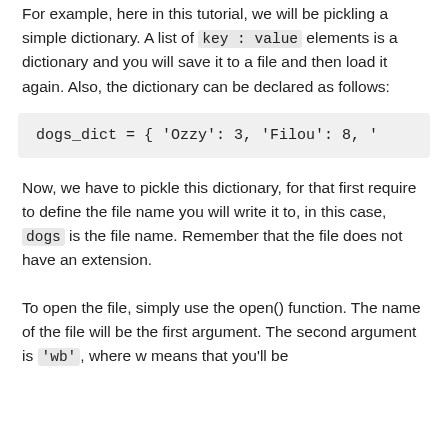For example, here in this tutorial, we will be pickling a simple dictionary. A list of key : value elements is a dictionary and you will save it to a file and then load it again. Also, the dictionary can be declared as follows:
Now, we have to pickle this dictionary, for that first require to define the file name you will write it to, in this case, dogs is the file name. Remember that the file does not have an extension.
To open the file, simply use the open() function. The name of the file will be the first argument. The second argument is 'wb', where w means that you'll be